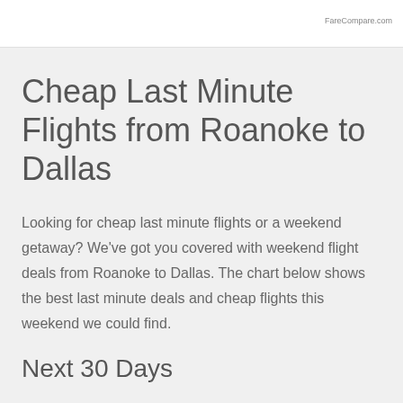FareCompare.com
Cheap Last Minute Flights from Roanoke to Dallas
Looking for cheap last minute flights or a weekend getaway? We've got you covered with weekend flight deals from Roanoke to Dallas. The chart below shows the best last minute deals and cheap flights this weekend we could find.
Next 30 Days